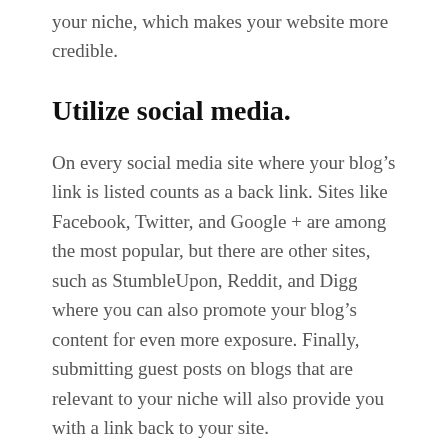your niche, which makes your website more credible.
Utilize social media.
On every social media site where your blog’s link is listed counts as a back link. Sites like Facebook, Twitter, and Google + are among the most popular, but there are other sites, such as StumbleUpon, Reddit, and Digg where you can also promote your blog’s content for even more exposure. Finally, submitting guest posts on blogs that are relevant to your niche will also provide you with a link back to your site.
Avoid using blackhat SEO.